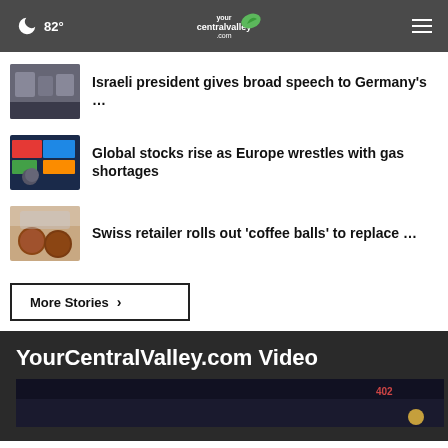82° yourcentralvalley.com
Israeli president gives broad speech to Germany's …
Global stocks rise as Europe wrestles with gas shortages
Swiss retailer rolls out 'coffee balls' to replace …
More Stories ›
YourCentralValley.com Video